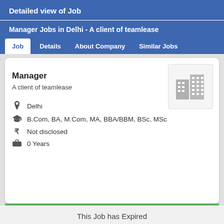Detailed view of Job
Manager Jobs in Delhi - A client of teamlease
Job   Details   About Company   Similar Jobs
Manager
A client of teamlease
[Figure (illustration): Building/office icon in gray]
Delhi
B.Com, BA, M.Com, MA, BBA/BBM, BSc, MSc
Not disclosed
0 Years
This Job has Expired